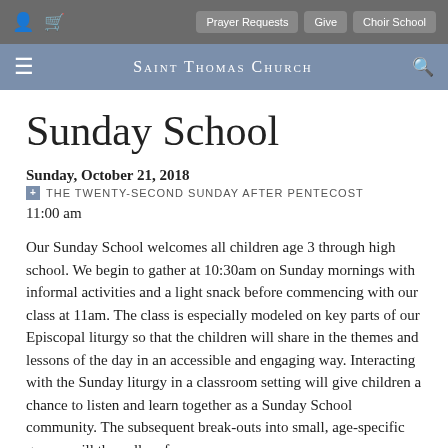Prayer Requests | Give | Choir School
Saint Thomas Church
Sunday School
Sunday, October 21, 2018
+ THE TWENTY-SECOND SUNDAY AFTER PENTECOST
11:00 am
Our Sunday School welcomes all children age 3 through high school. We begin to gather at 10:30am on Sunday mornings with informal activities and a light snack before commencing with our class at 11am. The class is especially modeled on key parts of our Episcopal liturgy so that the children will share in the themes and lessons of the day in an accessible and engaging way. Interacting with the Sunday liturgy in a classroom setting will give children a chance to listen and learn together as a Sunday School community. The subsequent break-outs into small, age-specific groups will then allow for